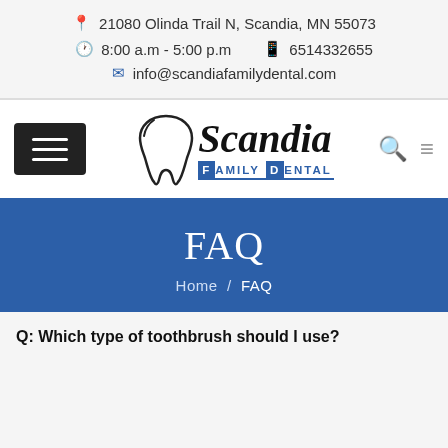21080 Olinda Trail N, Scandia, MN 55073
8:00 a.m - 5:00 p.m   6514332655
info@scandiafamilydental.com
[Figure (logo): Scandia Family Dental logo with tooth illustration and text]
FAQ
Home / FAQ
Q: Which type of toothbrush should I use?